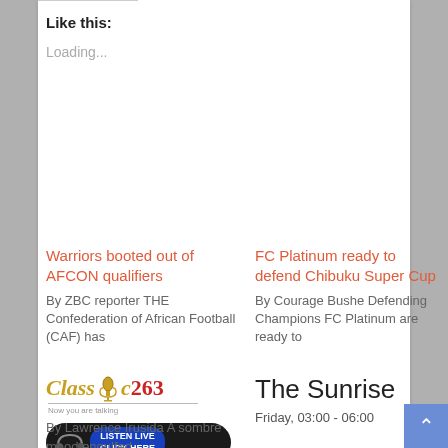Like this:
Loading...
Warriors booted out of AFCON qualifiers
By ZBC reporter THE Confederation of African Football (CAF) has
FC Platinum ready to defend Chibuku Super Cup
By Courage Bushe Defending Champions FC Platinum are ready to
[Figure (logo): Classic 263 radio logo with microphone icon, tagline 'Now you are talking', and a 'LISTEN LIVE CLICK HERE' button on dark background with headphones icon]
The Sunrise
Friday, 03:00 - 06:00
By Lawrence Irusida A sombre mood engulfed